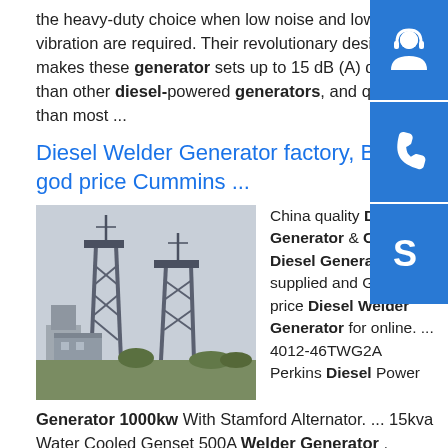the heavy-duty choice when low noise and low vibration are required. Their revolutionary design makes these generator sets up to 15 dB (A) quieter than other diesel-powered generators, and quieter than most ...
Diesel Welder Generator factory, Buy good price Cummins ...
[Figure (photo): Industrial steel lattice communication towers with antennas against an overcast sky, with buildings and trees in the foreground.]
China quality Diesel Generator & Cummins Diesel Generator supplied and Good price Diesel Welder Generator for online. ... 4012-46TWG2A Perkins Diesel Power
Generator 1000kw With Stamford Alternator. ... 15kva Water Cooled Genset 500A Welder Generator , Diesel Engine ARC Welding Machine IP23.sp.info 1500rpm Silent Diesel Generator Three Phase 7kw To 1000kw1500rpm Silent Diesel Generator Three Phase
[Figure (illustration): Blue square button with white headset/support person icon]
[Figure (illustration): Blue square button with white telephone/phone icon]
[Figure (illustration): Blue square button with white Skype 'S' icon]